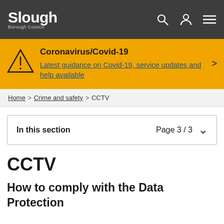Slough Borough Council
Coronavirus/Covid-19
Latest guidance on Covid-19, service updates and help available
Home > Crime and safety > CCTV
In this section   Page 3 / 3
CCTV
How to comply with the Data Protection